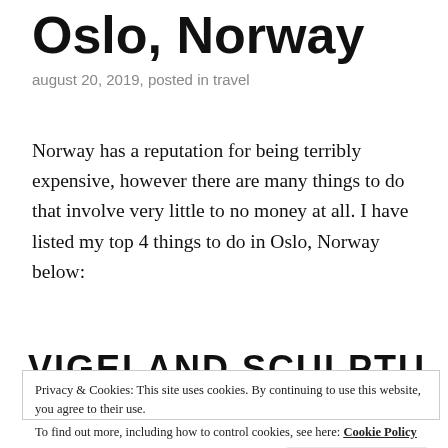Oslo, Norway
august 20, 2019, posted in travel
Norway has a reputation for being terribly expensive, however there are many things to do that involve very little to no money at all. I have listed my top 4 things to do in Oslo, Norway below:
VIGELAND SCULPTURE
Privacy & Cookies: This site uses cookies. By continuing to use this website, you agree to their use.
To find out more, including how to control cookies, see here: Cookie Policy
Close and accept